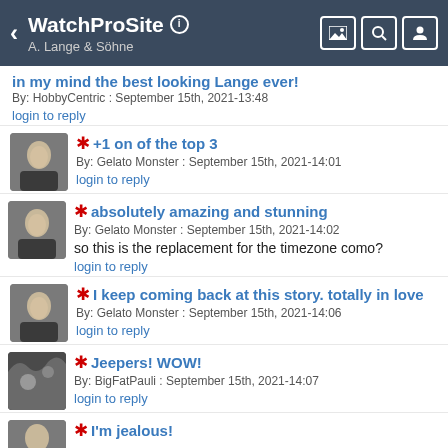WatchProSite — A. Lange & Söhne
in my mind the best looking Lange ever!
By: HobbyCentric : September 15th, 2021-13:48
login to reply
* +1 on of the top 3
By: Gelato Monster : September 15th, 2021-14:01
login to reply
* absolutely amazing and stunning
By: Gelato Monster : September 15th, 2021-14:02
so this is the replacement for the timezone como?
login to reply
* I keep coming back at this story. totally in love
By: Gelato Monster : September 15th, 2021-14:06
login to reply
* Jeepers! WOW!
By: BigFatPauli : September 15th, 2021-14:07
login to reply
* I'm jealous!